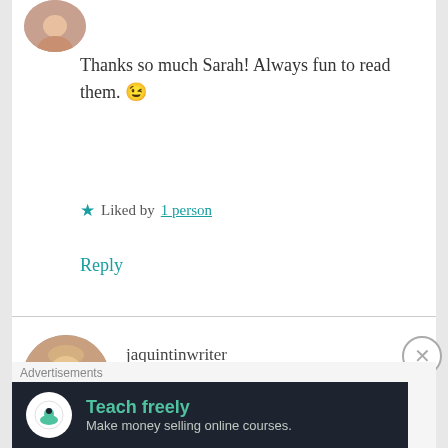[Figure (photo): Circular avatar photo of a person, partially visible at top]
Thanks so much Sarah! Always fun to read them. 😉
★ Liked by 1 person
Reply
[Figure (photo): Circular avatar photo of a woman with blonde hair]
jaquintinwriter
AUGUST 14, 2018 AT 10:15 AM
Congratulations! Wonderful news! A smile came across my face as I read your words. It's
Advertisements
Teach freely Make money selling online courses.